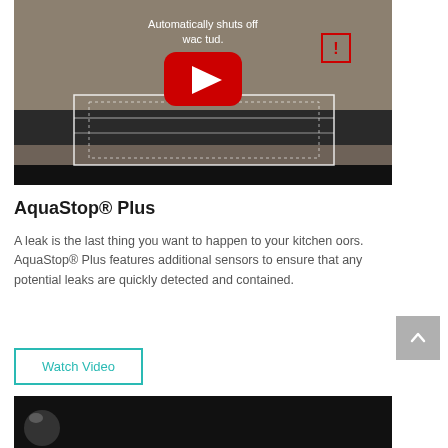[Figure (screenshot): YouTube video thumbnail showing an oven interior with white outline rectangles drawn on it, a red YouTube play button in the center, text 'Automatically shuts off wa...c tud.' at the top, and a red warning/exclamation icon box in the upper right.]
AquaStop® Plus
A leak is the last thing you want to happen to your kitchen oors. AquaStop® Plus features additional sensors to ensure that any potential leaks are quickly detected and contained.
Watch Video
[Figure (screenshot): Bottom of a second video thumbnail showing a colorful sphere logo on a black background.]